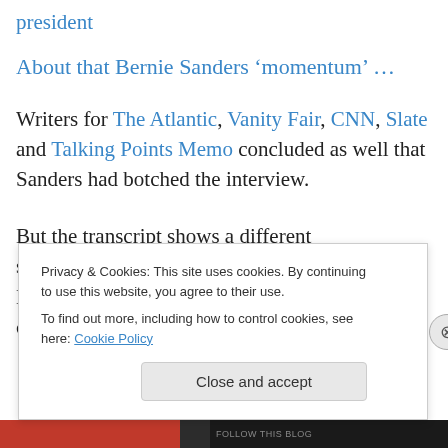president
About that Bernie Sanders ‘momentum’ …
Writers for The Atlantic, Vanity Fair, CNN, Slate and Talking Points Memo concluded as well that Sanders had botched the interview.
But the transcript shows a different story…..Sanders’s conversation with the Daily News was more nuanced than some of the criticism might suggest.
Privacy & Cookies: This site uses cookies. By continuing to use this website, you agree to their use.
To find out more, including how to control cookies, see here: Cookie Policy
Close and accept